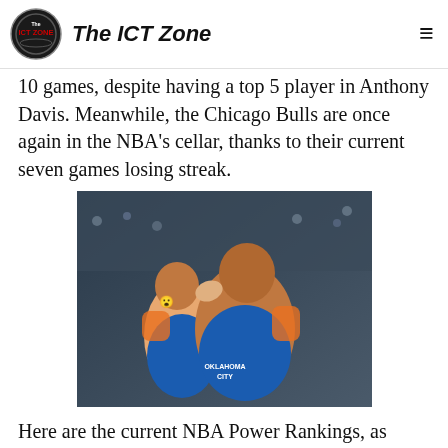The ICT Zone
10 games, despite having a top 5 player in Anthony Davis. Meanwhile, the Chicago Bulls are once again in the NBA's cellar, thanks to their current seven games losing streak.
[Figure (photo): Two Oklahoma City Thunder basketball players celebrating, one biting the other's fist in excitement, wearing OKC orange and blue uniforms, crowd in background]
Here are the current NBA Power Rankings, as determined by Ric Flair's legendary quote, "To be the man, you gotta beat the man":